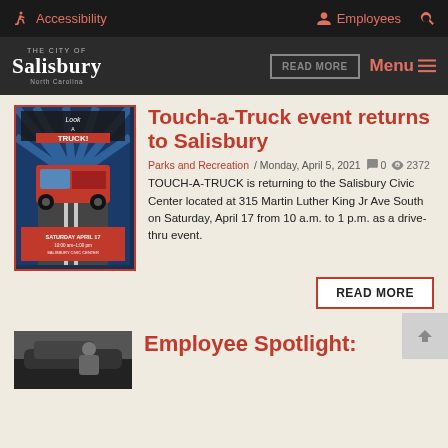Accessibility | Employees | Search
The City of Salisbury North Carolina | READ MORE | Menu
Touch-a-Truck event returns to Salisbury
Parks and Recreation / Monday, April 5, 2021  0  2372
TOUCH-A-TRUCK is returning to the Salisbury Civic Center located at 315 Martin Luther King Jr Ave South on Saturday, April 17 from 10 a.m. to 1 p.m. as a drive-thru event.
[Figure (illustration): Touch-a-Truck event poster showing a red truck on a road with text: Look A TRUCK! Drive-Thru Touch a Truck event. Saturday April 17, 10:00 am-1:00 pm, Salisbury Civic Center]
READ MORE
Employee Spotlight:
[Figure (photo): Photo of a person in uniform standing next to a dark police vehicle]